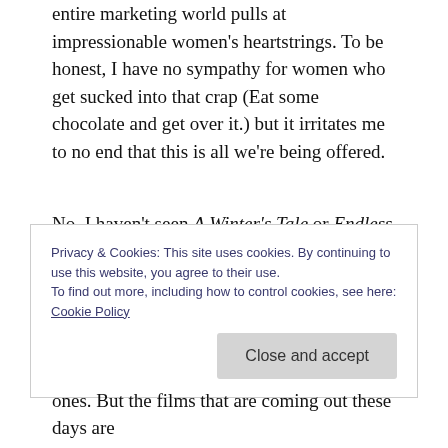entire marketing world pulls at impressionable women's heartstrings. To be honest, I have no sympathy for women who get sucked into that crap (Eat some chocolate and get over it.) but it irritates me to no end that this is all we're being offered.
No, I haven't seen A Winter's Tale or Endless Love and, yes, they're two slightly different genres (fantasy-romance and thriller-romance, respectively). But they're both made for and marketed to women on the assumption that we'll watch anything with romance in it; and they're right.
Privacy & Cookies: This site uses cookies. By continuing to use this website, you agree to their use.
To find out more, including how to control cookies, see here: Cookie Policy
ones. But the films that are coming out these days are